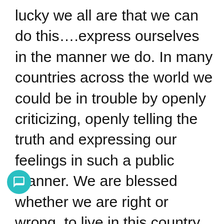lucky we all are that we can do this….express ourselves in the manner we do. In many countries across the world we could be in trouble by openly criticizing, openly telling the truth and expressing our feelings in such a public manner. We are blessed whether we are right or wrong, to live in this country where a young man took the chance to create this site, to im against the tide to provide this platform of democratic debate